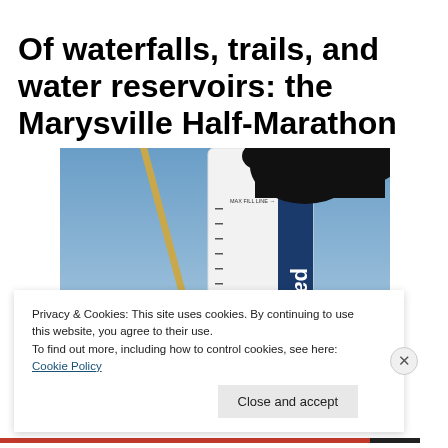Of waterfalls, trails, and water reservoirs: the Marysville Half-Marathon
[Figure (photo): Close-up photo of a person's hand holding a water reservoir/hydration pack against a blue sky. The white reservoir shows a 'MAX FILL LINE' marking and a blue 'pak' brand label with measurement markings on the side.]
Privacy & Cookies: This site uses cookies. By continuing to use this website, you agree to their use.
To find out more, including how to control cookies, see here: Cookie Policy